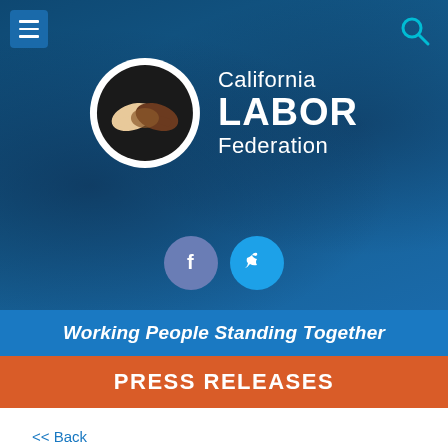[Figure (logo): California Labor Federation website header with logo (two hands shaking in a circle), organization name 'California LABOR Federation', Facebook and Twitter social icons, on a dark blue background with a blurred background photo]
Working People Standing Together
PRESS RELEASES
<< Back
Ten Races to Watch and What Working Families